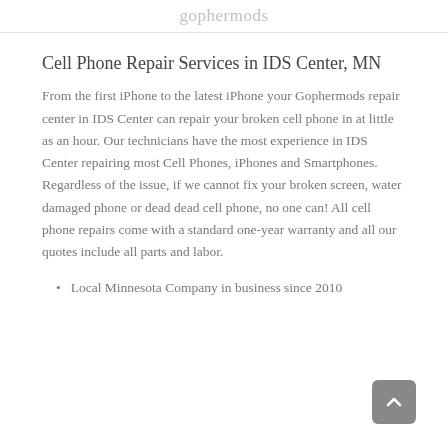gophermods
Cell Phone Repair Services in IDS Center, MN
From the first iPhone to the latest iPhone your Gophermods repair center in IDS Center can repair your broken cell phone in at little as an hour. Our technicians have the most experience in IDS Center repairing most Cell Phones, iPhones and Smartphones. Regardless of the issue, if we cannot fix your broken screen, water damaged phone or dead dead cell phone, no one can! All cell phone repairs come with a standard one-year warranty and all our quotes include all parts and labor.
Local Minnesota Company in business since 2010